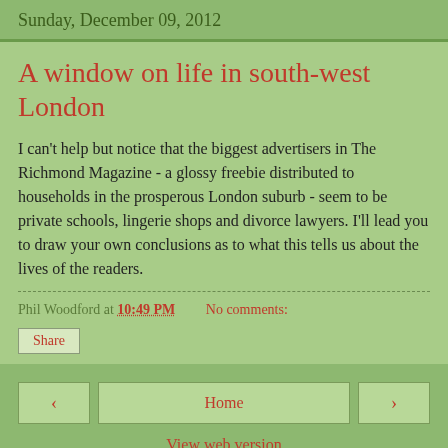Sunday, December 09, 2012
A window on life in south-west London
I can't help but notice that the biggest advertisers in The Richmond Magazine - a glossy freebie distributed to households in the prosperous London suburb - seem to be private schools, lingerie shops and divorce lawyers. I'll lead you to draw your own conclusions as to what this tells us about the lives of the readers.
Phil Woodford at 10:49 PM   No comments:
Share
< Home >
View web version
Powered by Blogger.